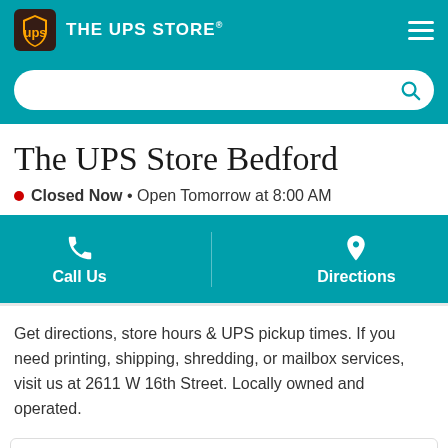THE UPS STORE
The UPS Store Bedford
Closed Now • Open Tomorrow at 8:00 AM
Call Us   Directions
Get directions, store hours & UPS pickup times. If you need printing, shipping, shredding, or mailbox services, visit us at 2611 W 16th Street. Locally owned and operated.
2611 W 16th Street
Bedford, IN 47421